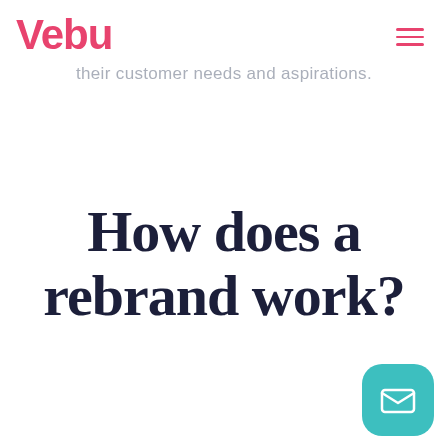Vebu
their customer needs and aspirations.
How does a rebrand work?
[Figure (illustration): Teal rounded square chat/email button with envelope icon in bottom right corner]